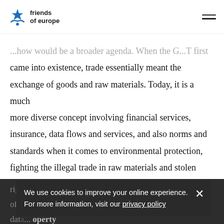friends of europe
...how would be a broader agenda. When the G...T first came into existence, trade essentially meant the exchange of goods and raw materials. Today, it is a much more diverse concept involving financial services, insurance, data flows and services, and also norms and standards when it comes to environmental protection, fighting the illegal trade in raw materials and stolen cultural artefacts, the preservation of fish stocks caused by illegal and over-fishing, and the protection of workers' rights or combatting child and forced labour. The piracy of consumer and luxury goods and the theft of data... property through cybercrime also come into this framework. The WTO needs to be able to debate these
We use cookies to improve your online experience. For more information, visit our privacy policy